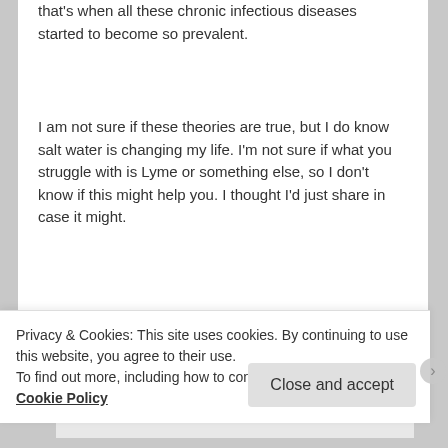that's when all these chronic infectious diseases started to become so prevalent.
I am not sure if these theories are true, but I do know salt water is changing my life. I'm not sure if what you struggle with is Lyme or something else, so I don't know if this might help you. I thought I'd just share in case it might.
★ Like
Reply ↓
esmeelafleur
Privacy & Cookies: This site uses cookies. By continuing to use this website, you agree to their use.
To find out more, including how to control cookies, see here: Cookie Policy
Close and accept